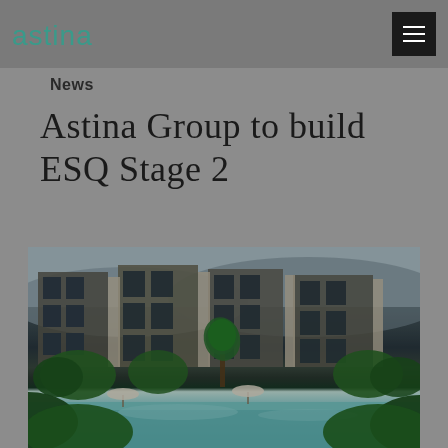astina
News
Astina Group to build ESQ Stage 2
[Figure (photo): Architectural rendering of ESQ Stage 2 building complex, showing modern multi-storey buildings with large glass panels, surrounded by tropical landscaping with palm trees and a swimming pool in the foreground]